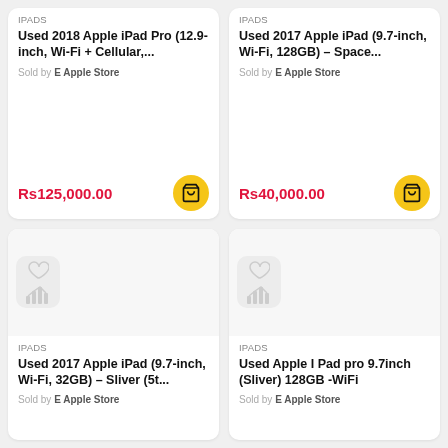IPADS
Used 2018 Apple iPad Pro (12.9-inch, Wi-Fi + Cellular,...
Sold by E Apple Store
Rs125,000.00
IPADS
Used 2017 Apple iPad (9.7-inch, Wi-Fi, 128GB) – Space...
Sold by E Apple Store
Rs40,000.00
[Figure (illustration): Heart and bar chart placeholder icons for product image]
IPADS
Used 2017 Apple iPad (9.7-inch, Wi-Fi, 32GB) – Sliver (5t...
Sold by E Apple Store
[Figure (illustration): Heart and bar chart placeholder icons for product image]
IPADS
Used Apple I Pad pro 9.7inch (Sliver) 128GB -WiFi
Sold by E Apple Store